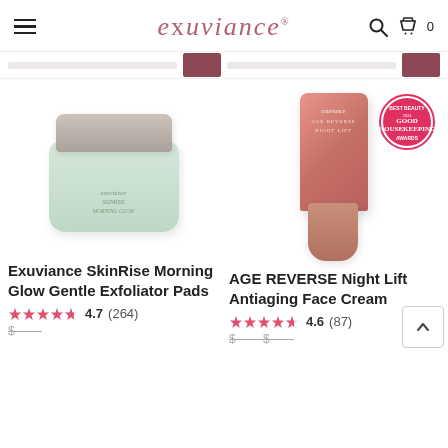exuviance
[Figure (photo): Product listing grid screenshot from Exuviance website. Top navigation strip with filter/sort bars. Two products shown: 1) Exuviance SkinRise Morning Glow Gentle Exfoliator Pads (jar with grey lid and mint green body). 2) AGE REVERSE Night Lift Antiaging Face Cream (salmon/rose colored tube with pump, Good Housekeeping Best Beauty Award badge).]
Exuviance SkinRise Morning Glow Gentle Exfoliator Pads
4.7   (264)
AGE REVERSE Night Lift Antiaging Face Cream
4.6   (87)